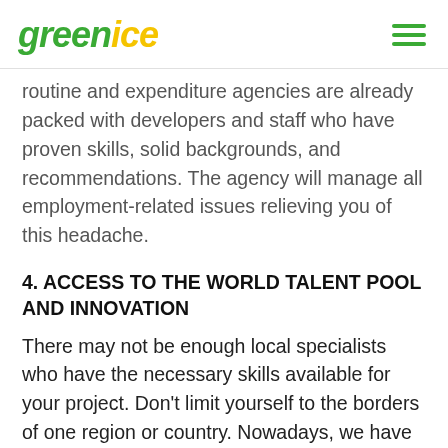greenice
routine and expenditure agencies are already packed with developers and staff who have proven skills, solid backgrounds, and recommendations. The agency will manage all employment-related issues relieving you of this headache.
4. ACCESS TO THE WORLD TALENT POOL AND INNOVATION
There may not be enough local specialists who have the necessary skills available for your project. Don't limit yourself to the borders of one region or country. Nowadays, we have the ability to connect with people from all around the world. So you can find a rare specialist for less money by choosing from the